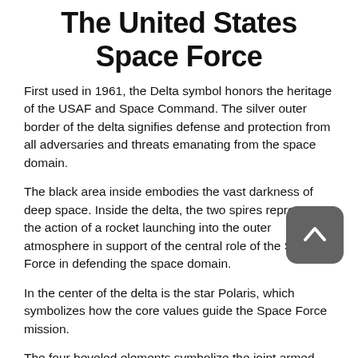The United States Space Force
First used in 1961, the Delta symbol honors the heritage of the USAF and Space Command. The silver outer border of the delta signifies defense and protection from all adversaries and threats emanating from the space domain.
The black area inside embodies the vast darkness of deep space. Inside the delta, the two spires represent the action of a rocket launching into the outer atmosphere in support of the central role of the Space Force in defending the space domain.
In the center of the delta is the star Polaris, which symbolizes how the core values guide the Space Force mission.
The four beveled elements symbolize the joint armed forces supporting the space mission: Air Force, Army, Navy, and Marines.